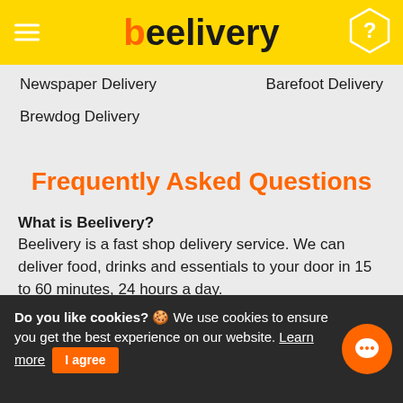beelivery
Newspaper Delivery
Barefoot Delivery
Brewdog Delivery
Frequently Asked Questions
What is Beelivery?
Beelivery is a fast shop delivery service. We can deliver food, drinks and essentials to your door in 15 to 60 minutes, 24 hours a day.
Do you like cookies? 🍪 We use cookies to ensure you get the best experience on our website. Learn more  I agree